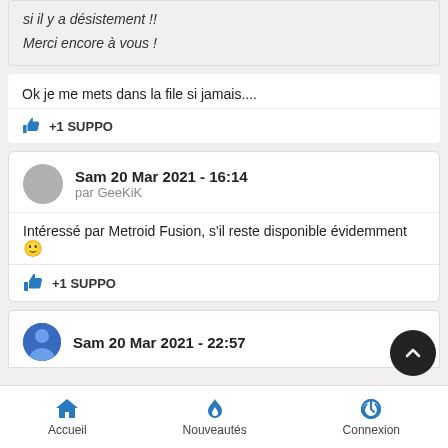si il y a désistement !!

Merci encore à vous !
Ok je me mets dans la file si jamais....
+1 SUPPO
Sam 20 Mar 2021 - 16:14
par GeeKiK
Intéressé par Metroid Fusion, s'il reste disponible évidemment 🙂
+1 SUPPO
Sam 20 Mar 2021 - 22:57
Accueil   Nouveautés   Connexion